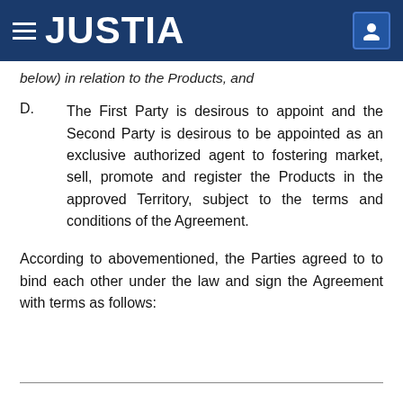JUSTIA
below) in relation to the Products, and
D. The First Party is desirous to appoint and the Second Party is desirous to be appointed as an exclusive authorized agent to fostering market, sell, promote and register the Products in the approved Territory, subject to the terms and conditions of the Agreement.
According to abovementioned, the Parties agreed to to bind each other under the law and sign the Agreement with terms as follows: